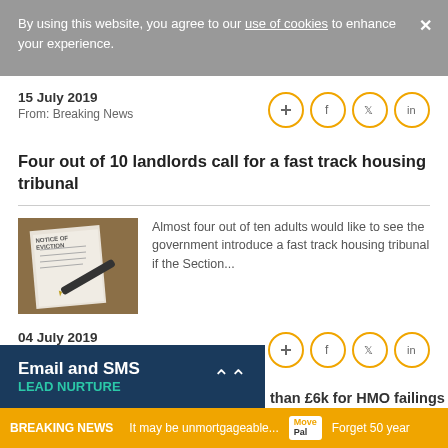By using this website, you agree to our use of cookies to enhance your experience.
15 July 2019
From: Breaking News
Four out of 10 landlords call for a fast track housing tribunal
Almost four out of ten adults would like to see the government introduce a fast track housing tribunal if the Section...
04 July 2019
From: Breaking News
Email and SMS LEAD NURTURE
than £6k for HMO failings
BREAKING NEWS  It may be unmortgageable...  Move Pal  Forget 50 year